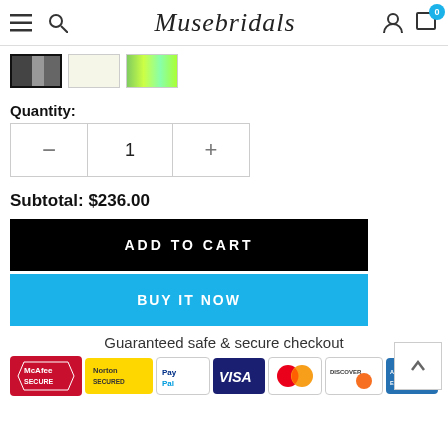Musebridals
[Figure (screenshot): Three color swatch thumbnails: dark/black pattern, cream/white, and multicolor gradient]
Quantity:
[Figure (other): Quantity selector with minus button, value 1, plus button]
Subtotal: $236.00
ADD TO CART
BUY IT NOW
Guaranteed safe & secure checkout
[Figure (infographic): Payment logos: McAfee Secure, Norton Secured, PayPal, Visa, Mastercard, Discover, American Express]